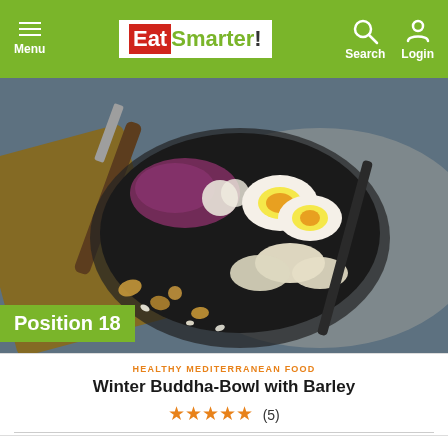Menu | EatSmarter! | Search | Login
[Figure (photo): Overhead view of a Buddha bowl with sliced boiled eggs, red cabbage, sliced apples, nuts and seeds in a dark bowl on a blue-grey surface with a wooden knife and grey cloth napkin.]
Position 18
HEALTHY MEDITERRANEAN FOOD
Winter Buddha-Bowl with Barley
★★★★★ (5)
⏱ 25 mins   ⚖ 447 calories   🍏 8,5